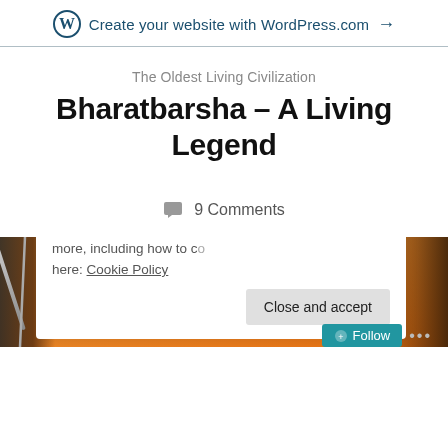Create your website with WordPress.com →
The Oldest Living Civilization
Bharatbarsha – A Living Legend
9 Comments
[Figure (photo): Orange/warm-toned banner image with dark silhouettes of figures and weapons on the left and right edges, consistent with a historical/civilization themed blog header.]
Privacy & Cookies: This site uses cookies. By continuing to use this website, you agree to their use. To find out more, including how to control cookies, see here: Cookie Policy
Close and accept